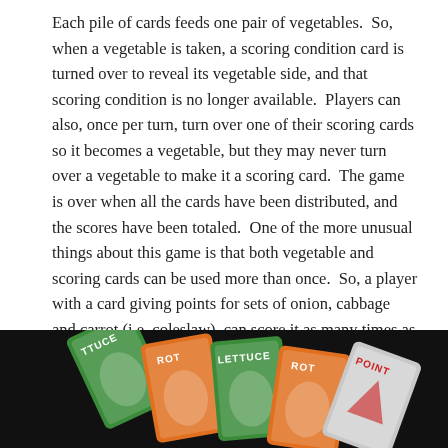Each pile of cards feeds one pair of vegetables.  So, when a vegetable is taken, a scoring condition card is turned over to reveal its vegetable side, and that scoring condition is no longer available.  Players can also, once per turn, turn over one of their scoring cards so it becomes a vegetable, but they may never turn over a vegetable to make it a scoring card.  The game is over when all the cards have been distributed, and the scores have been totaled.  One of the more unusual things about this game is that both vegetable and scoring cards can be used more than once.  So, a player with a card giving points for sets of onion, cabbage and carrot (i.e. coleslaw), can score it as many times as they have sets.  Furthermore, if they also have a card that scores for pairs of carrots and lettuces (i.e. rabbit food), they can reuse the carrot cards and count them a second time.
[Figure (photo): A photo showing several game cards fanned out against a black background. The cards appear to be vegetable/point cards with orange and green designs, showing partial text like 'TTUCE', 'ROT', 'LETTUCE', 'ROT', and 'POINT'.]